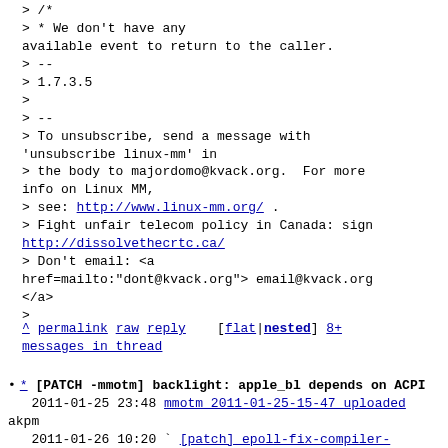>              /*
>               * We don't have any available event to return to the caller.
> --
> 1.7.3.5
>
> --
> To unsubscribe, send a message with 'unsubscribe linux-mm' in
> the body to majordomo@kvack.org.  For more info on Linux MM,
> see: http://www.linux-mm.org/ .
> Fight unfair telecom policy in Canada: sign http://dissolvethecrtc.ca/
> Don't email: <a href=mailto:"dont@kvack.org"> email@kvack.org </a>
>
^ permalink raw reply    [flat|nested] 8+ messages in thread
* [PATCH -mmotm] backlight: apple_bl depends on ACPI
   2011-01-25 23:48  mmotm 2011-01-25-15-47 uploaded akpm
   2011-01-26 10:20 ` [patch] epoll-fix-compiler-warning-and-optimize-the-non-blocking-path-fix Johannes Weiner
   @ 2011-01-26 19:16 ` Randy Dunlap